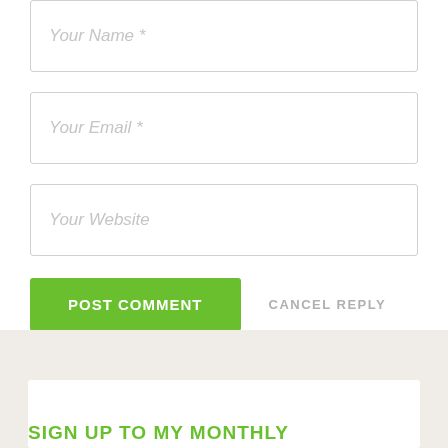[Figure (screenshot): Web form input field with placeholder text 'Your Name *']
[Figure (screenshot): Web form input field with placeholder text 'Your Email *']
[Figure (screenshot): Web form input field with placeholder text 'Your Website']
POST COMMENT
CANCEL REPLY
SIGN UP TO MY MONTHLY